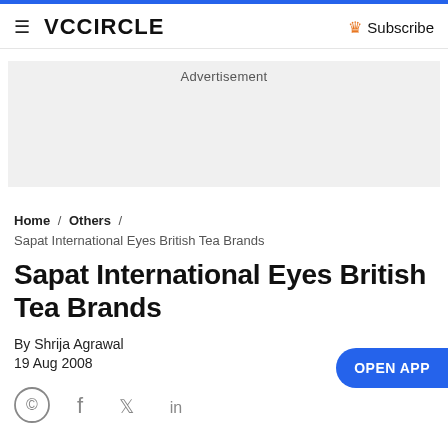VCCiRCLE  Subscribe
[Figure (other): Advertisement placeholder box]
Home / Others / Sapat International Eyes British Tea Brands
Sapat International Eyes British Tea Brands
By Shrija Agrawal
19 Aug 2008
[Figure (other): Social share icons: WhatsApp, Facebook, Twitter, LinkedIn]